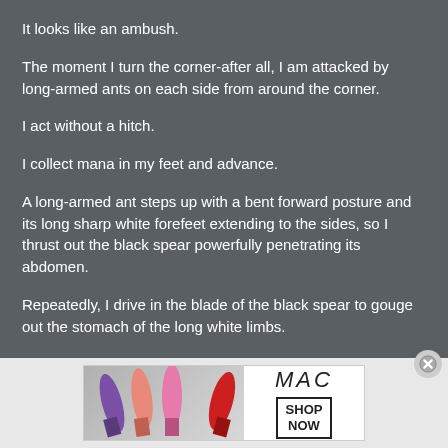It looks like an ambush.
The moment I turn the corner-after all, I am attacked by long-armed ants on each side from around the corner.
I act without a hitch.
I collect mana in my feet and advance.
A long-armed ant steps up with a bent forward posture and its long sharp white forefeet extending to the sides, so I thrust out the black spear powerfully penetrating its abdomen.
Repeatedly, I drive in the blade of the black spear to gouge out the stomach of the long white limbs.
[Figure (photo): MAC cosmetics advertisement banner showing colorful lipsticks (purple, pink, coral, red) with MAC logo and SHOP NOW button]